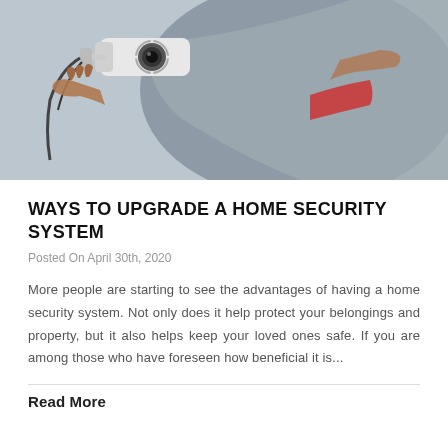[Figure (photo): A technician installing a CCTV security camera on a wall, close-up view showing the camera and the installer's arms and hands working on the mount.]
WAYS TO UPGRADE A HOME SECURITY SYSTEM
Posted On April 30th, 2020
More people are starting to see the advantages of having a home security system. Not only does it help protect your belongings and property, but it also helps keep your loved ones safe. If you are among those who have foreseen how beneficial it is...
Read More